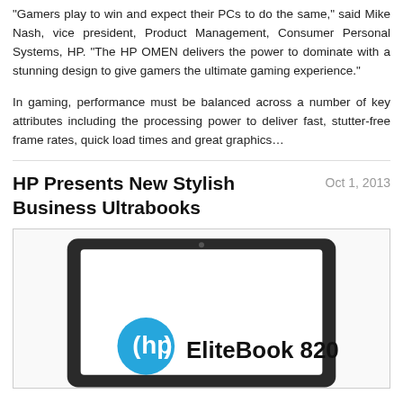"Gamers play to win and expect their PCs to do the same," said Mike Nash, vice president, Product Management, Consumer Personal Systems, HP. "The HP OMEN delivers the power to dominate with a stunning design to give gamers the ultimate gaming experience."
In gaming, performance must be balanced across a number of key attributes including the processing power to deliver fast, stutter-free frame rates, quick load times and great graphics…
HP Presents New Stylish Business Ultrabooks
Oct 1, 2013
[Figure (photo): HP EliteBook 820 laptop shown on screen of a tablet or display device with HP logo and EliteBook 820 text visible]